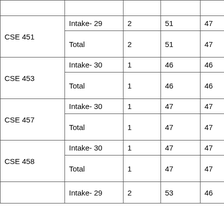|  |  |  |  |  |  |
| CSE 451 | Intake- 29 | 2 | 51 | 47 | 49 |
| CSE 451 | Total | 2 | 51 | 47 | 49 |
| CSE 453 | Intake- 30 | 1 | 46 | 46 | 46 |
| CSE 453 | Total | 1 | 46 | 46 | 46 |
| CSE 457 | Intake- 30 | 1 | 47 | 47 | 47 |
| CSE 457 | Total | 1 | 47 | 47 | 47 |
| CSE 458 | Intake- 30 | 1 | 47 | 47 | 47 |
| CSE 458 | Total | 1 | 47 | 47 | 47 |
|  | Intake- 29 | 2 | 53 | 46 | 50 |